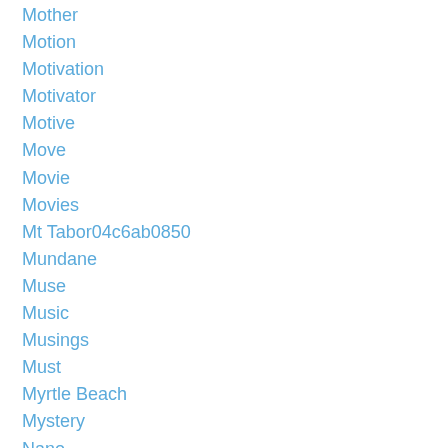Mother
Motion
Motivation
Motivator
Motive
Move
Movie
Movies
Mt Tabor04c6ab0850
Mundane
Muse
Music
Musings
Must
Myrtle Beach
Mystery
Nano
Nanowrimo
Nasty
National Novel Writing Month
Nature